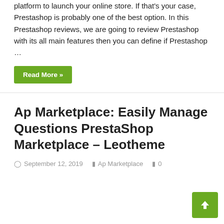platform to launch your online store. If that's your case, Prestashop is probably one of the best option. In this Prestashop reviews, we are going to review Prestashop with its all main features then you can define if Prestashop …
Read More »
Ap Marketplace: Easily Manage Questions PrestaShop Marketplace – Leotheme
September 12, 2019   Ap Marketplace   0